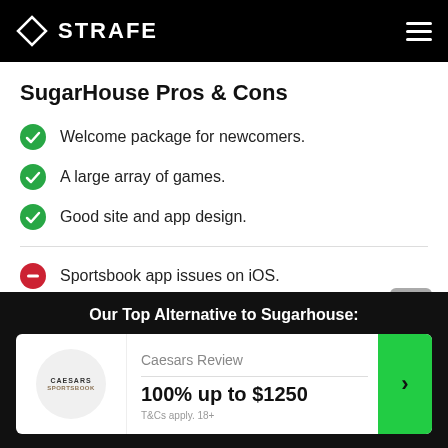STRAFE
SugarHouse Pros & Cons
Welcome package for newcomers.
A large array of games.
Good site and app design.
Sportsbook app issues on iOS.
Limited loyalty program rewards.
Our Top Alternative to Sugarhouse:
Caesars Review
100% up to $1250
T&Cs apply. 18+